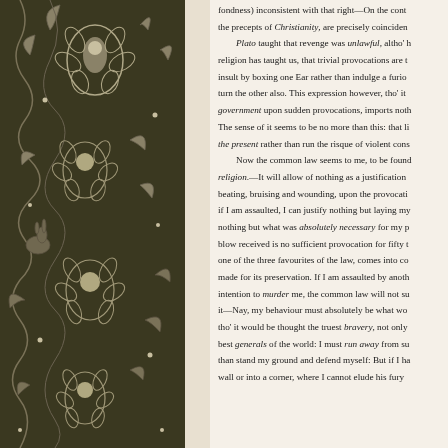[Figure (illustration): Decorative floral/paisley border pattern in dark olive-brown background with white/grey botanical motifs including flowers, leaves, and scrolling vines]
fondness) inconsistent with that right—On the contrary, the precepts of Christianity, are precisely coincident with Plato taught that revenge was unlawful, altho' h religion has taught us, that trivial provocations are t insult by boxing one Ear rather than indulge a furio turn the other also. This expression however, tho' it government upon sudden provocations, imports noth The sense of it seems to be no more than this: that li the present rather than run the risque of violent cons Now the common law seems to me, to be found religion.—It will allow of nothing as a justification beating, bruising and wounding, upon the provocati if I am assaulted, I can justify nothing but laying my nothing but what was absolutely necessary for my p blow received is no sufficient provocation for fifty one of the three favourites of the law, comes into co made for its preservation. If I am assaulted by anoth intention to murder me, the common law will not su it—Nay, my behaviour must absolutely be what wo tho' it would be thought the truest bravery, not only best generals of the world: I must run away from su than stand my ground and defend myself: But if I ha wall or into a corner, where I cannot elude his fury